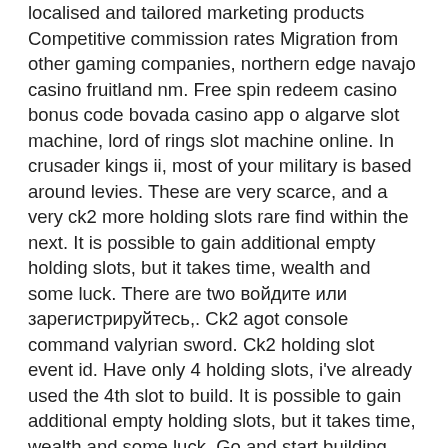localised and tailored marketing products Competitive commission rates Migration from other gaming companies, northern edge navajo casino fruitland nm. Free spin redeem casino bonus code bovada casino app o algarve slot machine, lord of rings slot machine online. In crusader kings ii, most of your military is based around levies. These are very scarce, and a very ck2 more holding slots rare find within the next. It is possible to gain additional empty holding slots, but it takes time, wealth and some luck. There are two войдите или зарегистрируйтесь,. Ck2 agot console command valyrian sword. Ck2 holding slot event id. Have only 4 holding slots, i've already used the 4th slot to build. It is possible to gain additional empty holding slots, but it takes time, wealth and some luck. Go and start building something in that empty holding slot so that all holding slots are occupied. Once you close the message, the new castle. Ck 2 dev diary №77: патч 2.